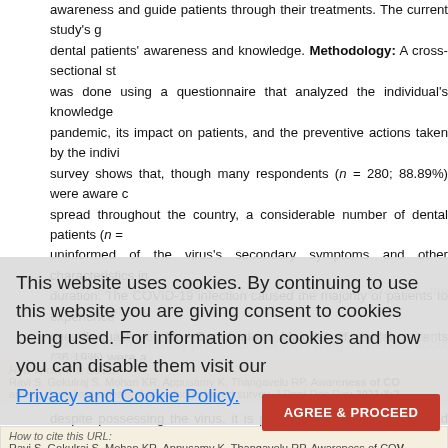awareness and guide patients through their treatments. The current study's goal was dental patients' awareness and knowledge. Methodology: A cross-sectional study was done using a questionnaire that analyzed the individual's knowledge of the pandemic, its impact on patients, and the preventive actions taken by the individual. The survey shows that, though many respondents (n = 280; 88.89%) were aware of its spread throughout the country, a considerable number of dental patients (n = ...) were uninformed of the virus's secondary symptoms and other characteristics including duration. The COVID-19 infection caused the majority of patients to experience reduced overall quality of life. Conclusion: Majority of dental patients (36.19%) were aware of the impacts on a person's health. Since few individuals (n = 16; 5.08%) chose to visit despite possessing the virus, it is possible that the individual and those who come near the patient are at risk. In spite of the role of social media and the news in spreading, such cases are prevalent in society. Hence, we advocate the implementation of ... exercise the mandatory precautions for increasing awareness about COVID-19 ... the public.
Keywords: Awareness, community knowledge, COVID-19, dental patients, workers
This website uses cookies. By continuing to use this website you are giving consent to cookies being used. For information on cookies and how you can disable them visit our Privacy and Cookie Policy.
How to cite this article: Ravi S, Gokulraj S, Mohan KR, Appusamy K, Thangavelu RP. Awareness of COVID among dental outpatients: A knowledge-based survey. J Dent Res Rev 2021;8:2
How to cite this URL: Ravi S, Gokulraj S, Mohan KR, Appusamy K, Thangavelu RP. Awareness of COV among dental outpatients: A knowledge-based survey. J Dent Res Rev [serial